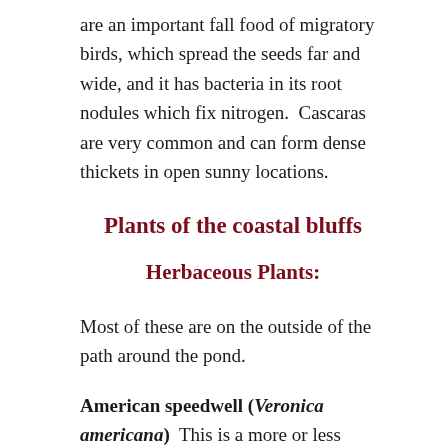are an important fall food of migratory birds, which spread the seeds far and wide, and it has bacteria in its root nodules which fix nitrogen.  Cascaras are very common and can form dense thickets in open sunny locations.
Plants of the coastal bluffs
Herbaceous Plants:
Most of these are on the outside of the path around the pond.
American speedwell (Veronica americana)  This is a more or less prostrate plant, and has opposite leaves and small blue flowers.  It is very widespread and common in wet sunny areas, often at the edges of